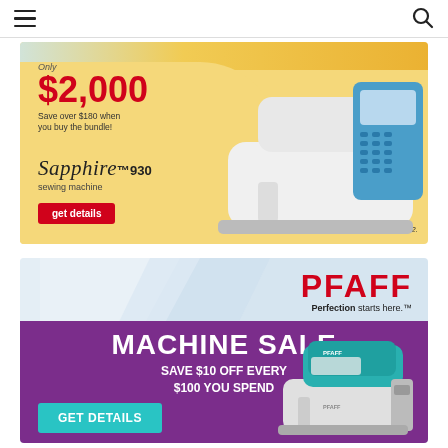Navigation bar with menu and search icons
[Figure (photo): Sapphire 930 sewing machine bundle advertisement. Text: Only $2,000. Save over $180 when you buy the bundle! Sapphire 930 sewing machine. get details. Offer valid August 1 - 31, 2022.]
[Figure (photo): PFAFF Machine Sale advertisement. PFAFF Perfection starts here. MACHINE SALE SAVE $10 OFF EVERY $100 YOU SPEND. GET DETAILS. Features teal PFAFF sewing machine.]